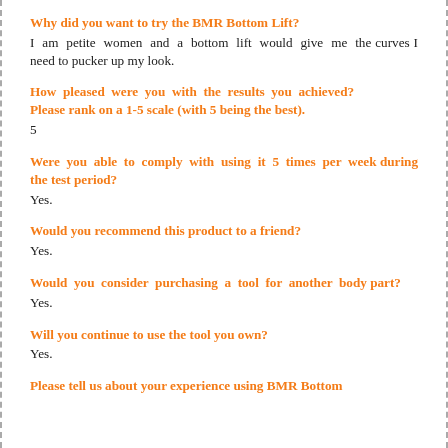Why did you want to try the BMR Bottom Lift?
I am petite women and a bottom lift would give me the curves I need to pucker up my look.
How pleased were you with the results you achieved? Please rank on a 1-5 scale (with 5 being the best).
5
Were you able to comply with using it 5 times per week during the test period?
Yes.
Would you recommend this product to a friend?
Yes.
Would you consider purchasing a tool for another body part?
Yes.
Will you continue to use the tool you own?
Yes.
Please tell us about your experience using BMR Bottom